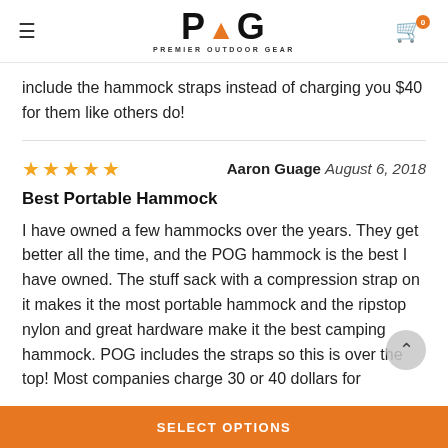POG PREMIER OUTDOOR GEAR
include the hammock straps instead of charging you $40 for them like others do!
Aaron Guage August 6, 2018
Best Portable Hammock
I have owned a few hammocks over the years. They get better all the time, and the POG hammock is the best I have owned. The stuff sack with a compression strap on it makes it the most portable hammock and the ripstop nylon and great hardware make it the best camping hammock. POG includes the straps so this is over the top! Most companies charge 30 or 40 dollars for
SELECT OPTIONS